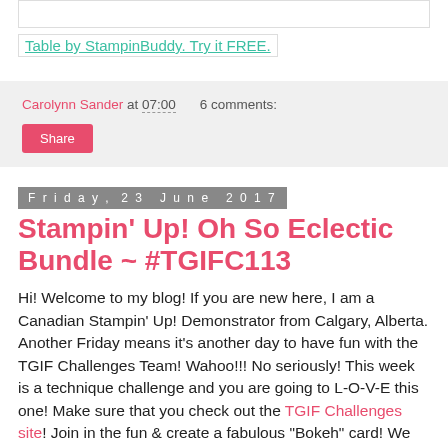Table by StampinBuddy. Try it FREE.
Carolynn Sander at 07:00    6 comments:
Share
Friday, 23 June 2017
Stampin' Up! Oh So Eclectic Bundle ~ #TGIFC113
Hi! Welcome to my blog! If you are new here, I am a Canadian Stampin' Up! Demonstrator from Calgary, Alberta. Another Friday means it's another day to have fun with the TGIF Challenges Team! Wahoo!!! No seriously! This week is a technique challenge and you are going to L-O-V-E this one! Make sure that you check out the TGIF Challenges site! Join in the fun & create a fabulous "Bokeh" card! We can't wait to see what you have to share!